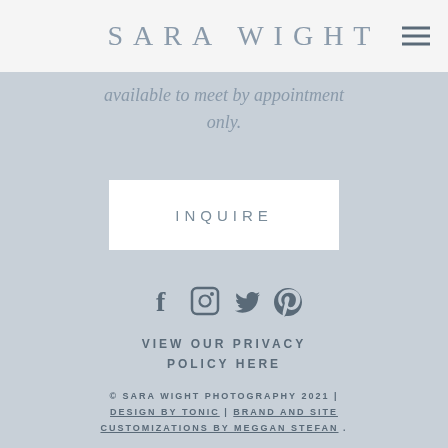SARA WIGHT
available to meet by appointment only.
INQUIRE
[Figure (illustration): Social media icons: Facebook, Instagram, Twitter, Pinterest]
VIEW OUR PRIVACY POLICY HERE
© SARA WIGHT PHOTOGRAPHY 2021 | DESIGN BY TONIC | BRAND AND SITE CUSTOMIZATIONS BY MEGGAN STEFAN .